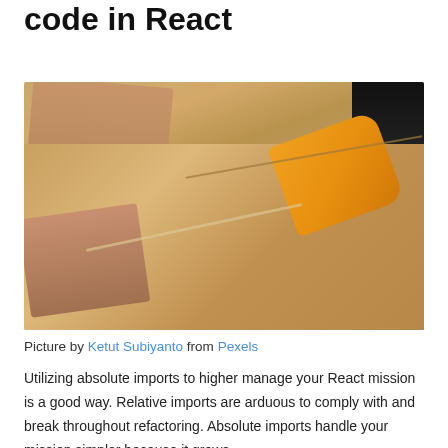code in React
[Figure (photo): A person using a tape gun/dispenser to seal a cardboard moving box. The person's arms are visible, one pressing on the box and one holding the yellow tape dispenser. The background is dark on the upper right.]
Picture by Ketut Subiyanto from Pexels
Utilizing absolute imports to higher manage your React mission is a good way. Relative imports are arduous to comply with and break throughout refactoring. Absolute imports handle your mission simpler because it grows.